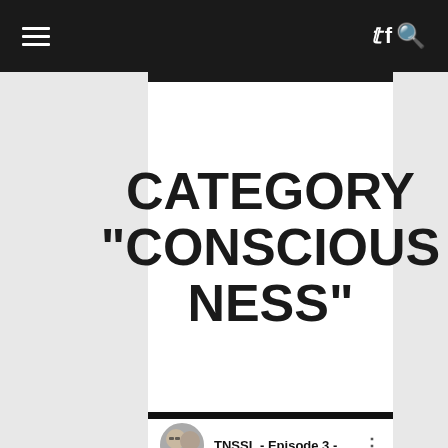Navigation bar with hamburger menu and twitter, facebook, search icons
CATEGORY "CONSCIOUSNESS"
[Figure (screenshot): YouTube video thumbnail showing 'TNSSL - Episode 3 - ...' with two people avatars, a red play button, and a three-dot menu icon. Below is a dark video frame with silhouettes of people and a yellow circle in the bottom right corner.]